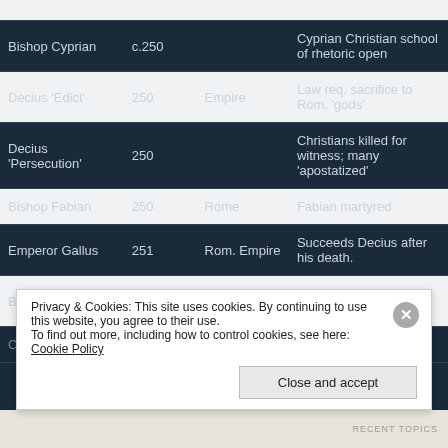| Person/Event | Year | Place | Description |
| --- | --- | --- | --- |
| Bishop Cyprian | c.250 |  | Cyprian Christian school of rhetoric open |
| Decius 'Edict' | 250 | Empire | Law req. sacrifice to Rom. 'gods' |
| Decius 'Persecution' | 250 |  | Christians killed for witness; many 'apostatized' |
| Bishop Fabian | 250 | Rome | Fabian martyred |
| Emperor Gallus | 251 | Rom. Empire | Succeeds Decius after his death. |
| Bishop Cornelius | c.251 | Rome | Excommunicates Novitian |
| Cyprian calls |  |  | Also calls Tertullian |
Privacy & Cookies: This site uses cookies. By continuing to use this website, you agree to their use. To find out more, including how to control cookies, see here: Cookie Policy